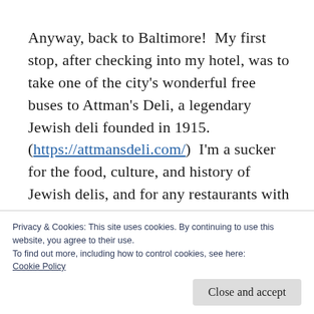Anyway, back to Baltimore!  My first stop, after checking into my hotel, was to take one of the city's wonderful free buses to Attman's Deli, a legendary Jewish deli founded in 1915. (https://attmansdeli.com/)  I'm a sucker for the food, culture, and history of Jewish delis, and for any restaurants with that kind of resilience.  In this era where everything is ephemeral, I am drawn to those institutions that are obviously doing everything right in
Privacy & Cookies: This site uses cookies. By continuing to use this website, you agree to their use.
To find out more, including how to control cookies, see here: Cookie Policy
Close and accept